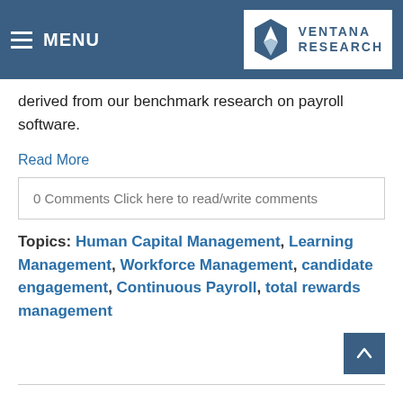MENU | VENTANA RESEARCH
... concerning the vendor. We recommend vendors objectively. To arrive at the Value Index rating for a given vendor, we weighted each of the five categories to reflect its relative importance in an RFP process, with the weightings based on data derived from our benchmark research on payroll software.
Read More
0 Comments Click here to read/write comments
Topics: Human Capital Management, Learning Management, Workforce Management, candidate engagement, Continuous Payroll, total rewards management